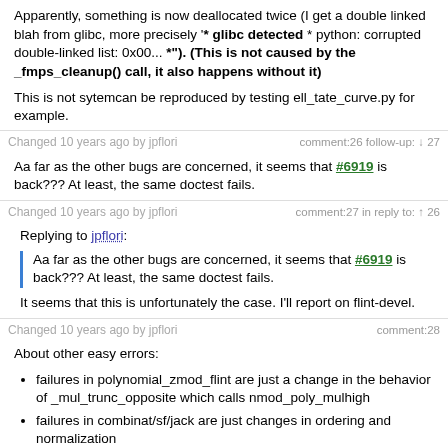Apparently, something is now deallocated twice (I get a double linked blah from glibc, more precisely '* glibc detected * python: corrupted double-linked list: 0x00... *'). (This is not caused by the _fmps_cleanup() call, it also happens without it)
This is not sytemcan be reproduced by testing ell_tate_curve.py for example.
Changed 10 years ago by jpflori    comment:26 follow-up: ↓ 27
Aa far as the other bugs are concerned, it seems that #6919 is back??? At least, the same doctest fails.
Changed 10 years ago by jpflori    comment:27 in reply to: ↑ 26
Replying to jpflori:
Aa far as the other bugs are concerned, it seems that #6919 is back??? At least, the same doctest fails.
It seems that this is unfortunately the case. I'll report on flint-devel.
Changed 10 years ago by jpflori    comment:28
About other easy errors:
failures in polynomial_zmod_flint are just a change in the behavior of _mul_trunc_opposite which calls nmod_poly_mulhigh
failures in combinat/sf/jack are just changes in ordering and normalization